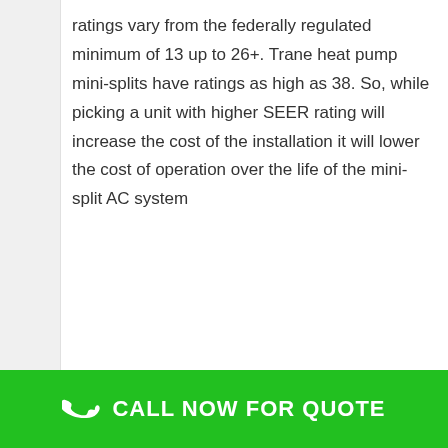ratings vary from the federally regulated minimum of 13 up to 26+. Trane heat pump mini-splits have ratings as high as 38. So, while picking a unit with higher SEER rating will increase the cost of the installation it will lower the cost of operation over the life of the mini-split AC system
CALL NOW FOR QUOTE